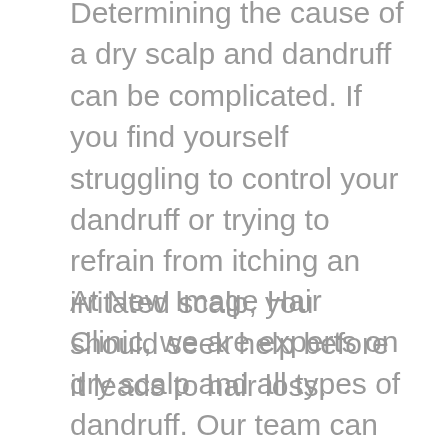Determining the cause of a dry scalp and dandruff can be complicated. If you find yourself struggling to control your dandruff or trying to refrain from itching an irritated scalp, you should seek help before it leads to hair loss.
At New Image Hair Clinic, we are experts on dry scalp and all types of dandruff. Our team can help with determining the potential cause of your scalp issue and help you find a solution that works best for you such as laser hair therapy, or topical thickening and regrowth products. Contact us today and schedule your FREE initial consultation to learn more about dry scalp and dandruff and how our team can help